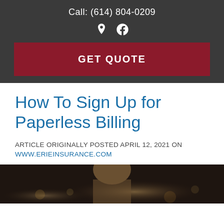Call: (614) 804-0209
GET QUOTE
How To Sign Up for Paperless Billing
ARTICLE ORIGINALLY POSTED APRIL 12, 2021 ON WWW.ERIEINSURANCE.COM
[Figure (photo): Photo of a woman with short hair, looking down, dark background with blurred bokeh lights]